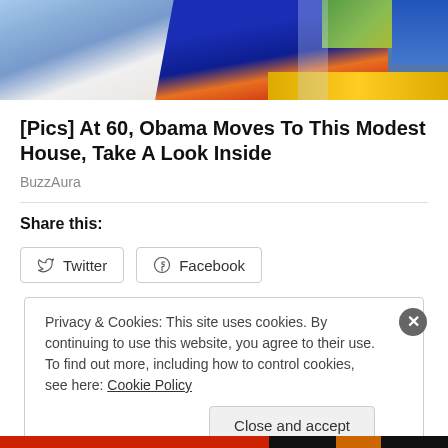[Figure (photo): Cropped photo showing two people, one in a blue checked shirt on the left and one in a dark blue top on the right, with greenery and a path in the background.]
[Pics] At 60, Obama Moves To This Modest House, Take A Look Inside
BuzzAura
Share this:
Twitter
Facebook
Privacy & Cookies: This site uses cookies. By continuing to use this website, you agree to their use.
To find out more, including how to control cookies, see here: Cookie Policy
Close and accept